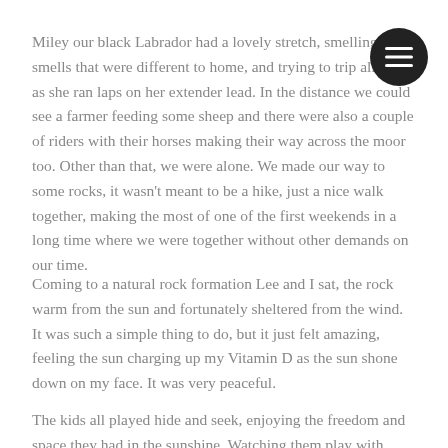Miley our black Labrador had a lovely stretch, smelling the smells that were different to home, and trying to trip all over as she ran laps on her extender lead. In the distance we could see a farmer feeding some sheep and there were also a couple of riders with their horses making their way across the moor too. Other than that, we were alone. We made our way to some rocks, it wasn't meant to be a hike, just a nice walk together, making the most of one of the first weekends in a long time where we were together without other demands on our time.
Coming to a natural rock formation Lee and I sat, the rock warm from the sun and fortunately sheltered from the wind. It was such a simple thing to do, but it just felt amazing, feeling the sun charging up my Vitamin D as the sun shone down on my face. It was very peaceful.
The kids all played hide and seek, enjoying the freedom and space they had in the sunshine. Watching them play with